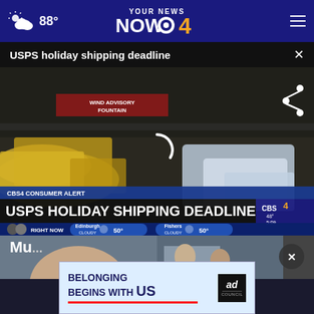88° YOUR NEWS NOW CBS4
USPS holiday shipping deadline ×
[Figure (screenshot): Video screenshot showing USPS packages/mail in a delivery vehicle interior. Overlay text shows 'WIND ADVISORY FOUNTAIN', 'CBS4 CONSUMER ALERT', 'USPS HOLIDAY SHIPPING DEADLINE', 'RIGHT NOW', 'Edinburgh CLOUDY 50°', 'Fishers CLOUDY 50°', temperature '48°', time '5:09'. A loading spinner is visible. Share icon in top right.]
[Figure (screenshot): Partial photos of faces below the video, partially visible news thumbnails]
[Figure (infographic): Ad banner: BELONGING BEGINS WITH US with red underline, Ad Council logo]
Mu...